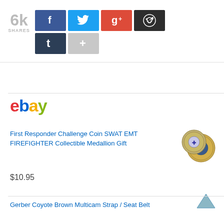[Figure (infographic): Social share widget showing 6k shares with buttons for Facebook, Twitter, Google+, Reddit, Tumblr, and a more (+) button]
[Figure (logo): eBay logo in multicolor: red e, blue b, yellow a, green y]
First Responder Challenge Coin SWAT EMT FIREFIGHTER Collectible Medallion Gift
$10.95
[Figure (photo): Two circular challenge coins with first responder insignia]
Gerber Coyote Brown Multicam Strap / Seat Belt